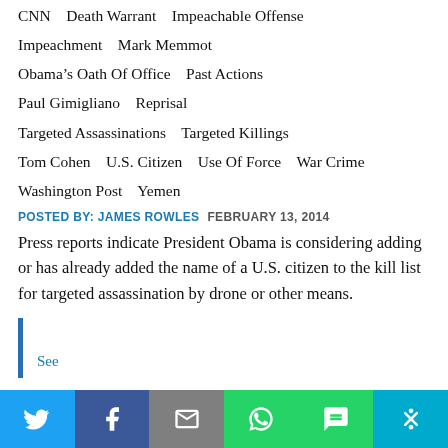CNN   Death Warrant   Impeachable Offense
Impeachment   Mark Memmot
Obama's Oath Of Office   Past Actions
Paul Gimigliano   Reprisal
Targeted Assassinations   Targeted Killings
Tom Cohen   U.S. Citizen   Use Of Force   War Crime
Washington Post   Yemen
POSTED BY: JAMES ROWLES   FEBRUARY 13, 2014
Press reports indicate President Obama is considering adding or has already added the name of a U.S. citizen to the kill list for targeted assassination by drone or other means.
See